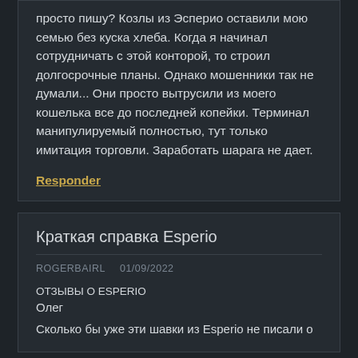просто пишу? Козлы из Эсперио оставили мою семью без куска хлеба. Когда я начинал сотрудничать с этой конторой, то строил долгосрочные планы. Однако мошенники так не думали... Они просто вытрусили из моего кошелька все до последней копейки. Терминал манипулируемый полностью, тут только имитация торговли. Заработать шарага не дает.
Responder
Краткая справка Esperio
ROGERBAIRL   01/09/2022
ОТЗЫВЫ О ESPERIO
Олег
Сколько бы уже эти шавки из Esperio не писали о